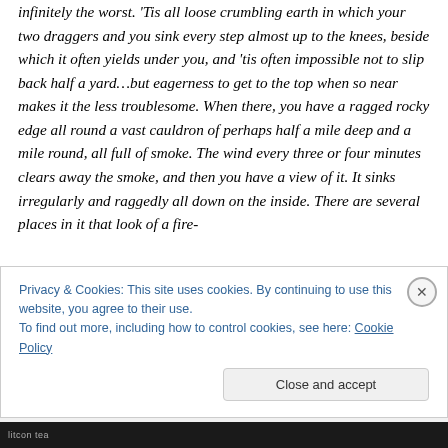infinitely the worst. 'Tis all loose crumbling earth in which your two draggers and you sink every step almost up to the knees, beside which it often yields under you, and 'tis often impossible not to slip back half a yard…but eagerness to get to the top when so near makes it the less troublesome. When there, you have a ragged rocky edge all round a vast cauldron of perhaps half a mile deep and a mile round, all full of smoke. The wind every three or four minutes clears away the smoke, and then you have a view of it. It sinks irregularly and raggedly all down on the inside. There are several places in it that look of a fire-
Privacy & Cookies: This site uses cookies. By continuing to use this website, you agree to their use.
To find out more, including how to control cookies, see here: Cookie Policy
Close and accept